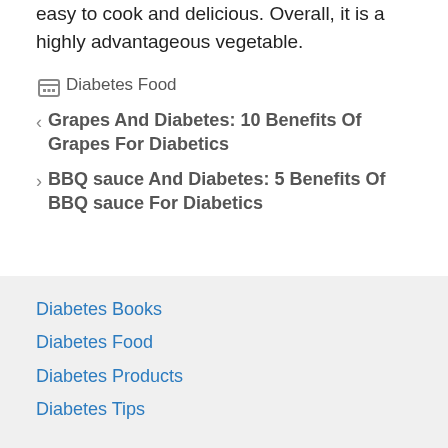easy to cook and delicious. Overall, it is a highly advantageous vegetable.
Diabetes Food
Grapes And Diabetes: 10 Benefits Of Grapes For Diabetics
BBQ sauce And Diabetes: 5 Benefits Of BBQ sauce For Diabetics
Diabetes Books
Diabetes Food
Diabetes Products
Diabetes Tips